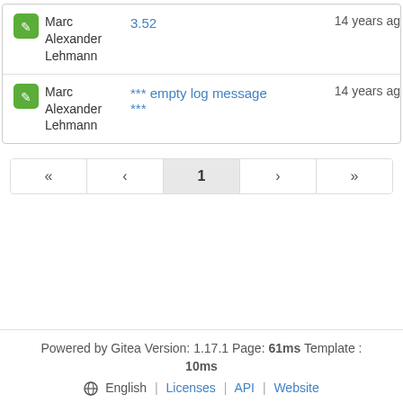Marc Alexander Lehmann — 3.52 — 14 years ago
Marc Alexander Lehmann — *** empty log message *** — 14 years ago
« < 1 > »
Powered by Gitea Version: 1.17.1 Page: 61ms Template : 10ms
English | Licenses | API | Website